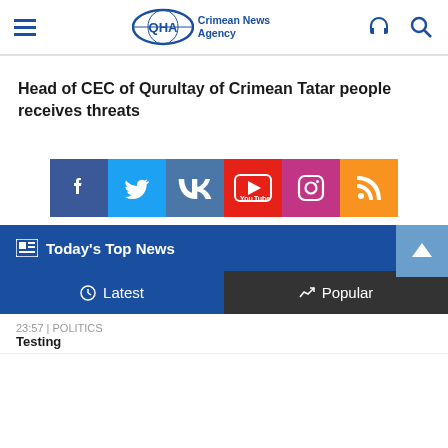QHA Crimean News Agency
Head of CEC of Qurultay of Crimean Tatar people receives threats
[Figure (illustration): Row of social media icons: Facebook (blue), Twitter (light blue), VK (steel blue), YouTube (red), Instagram (pink/magenta), RSS (orange)]
Today's Top News
Latest | Popular
23:57 | POLITICS
Testing